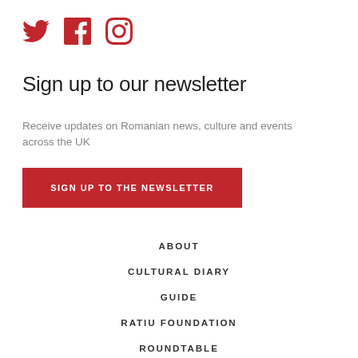[Figure (logo): Three social media icons: Twitter bird, Facebook f, Instagram camera — all in dark red/crimson color]
Sign up to our newsletter
Receive updates on Romanian news, culture and events across the UK
SIGN UP TO THE NEWSLETTER
ABOUT
CULTURAL DIARY
GUIDE
RATIU FOUNDATION
ROUNDTABLE